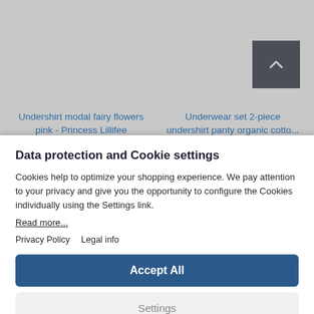[Figure (screenshot): Gray background with product listing page, two product titles visible at bottom: 'Undershirt modal fairy flowers pink - Princess Lillifee' and 'Underwear set 2-piece undershirt panty organic cotto...']
Undershirt modal fairy flowers pink - Princess Lillifee
Underwear set 2-piece undershirt panty organic cotto...
Data protection and Cookie settings
Cookies help to optimize your shopping experience. We pay attention to your privacy and give you the opportunity to configure the Cookies individually using the Settings link.
Read more...
Privacy Policy   Legal info
Accept All
Settings
Powered by Usercentrics Consent Management